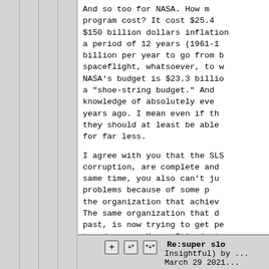And so too for NASA. How much did the Apollo program cost? It cost $25.4 billion, or about $150 billion dollars inflation adjusted, over a period of 12 years (1961-1973). That's $12.5 billion per year to go from basically no human spaceflight, whatsoever, to walking on the moon. NASA's budget is $23.3 billion. They call that a "shoe-string budget." And they now have the knowledge of absolutely everything done 50+ years ago. I mean even if they can't beat it, they should at least be able to do something for far less.
I agree with you that the SLS, and all the corruption, are complete and utter BS. At the same time, you also can't just dismiss all the problems because of some past accolades of the organization that achieved them decades ago. The same organization that flew to the moon in the past, is now trying to get pennies to fly a toy drone on Mars. It's just g
Parent
Re:super slo... (Insightful) by ... March 29 2021...